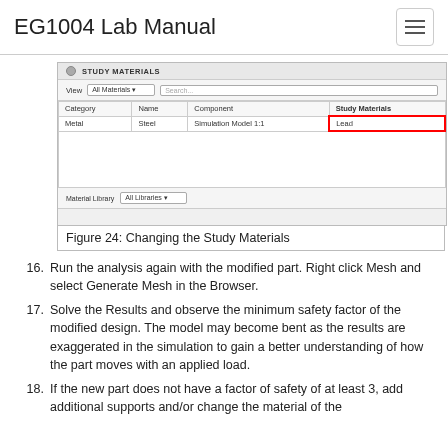EG1004 Lab Manual
[Figure (screenshot): Screenshot of a Study Materials dialog in a simulation software showing a table with columns Category, Name, Component, and Study Materials. A row shows Metal, Steel, Simulation Model 1:1, Lead. The Study Materials cell contains 'Lead' highlighted with a red border. Below is a Material Library dropdown set to All Libraries.]
Figure 24: Changing the Study Materials
16. Run the analysis again with the modified part. Right click Mesh and select Generate Mesh in the Browser.
17. Solve the Results and observe the minimum safety factor of the modified design. The model may become bent as the results are exaggerated in the simulation to gain a better understanding of how the part moves with an applied load.
18. If the new part does not have a factor of safety of at least 3, add additional supports and/or change the material of the